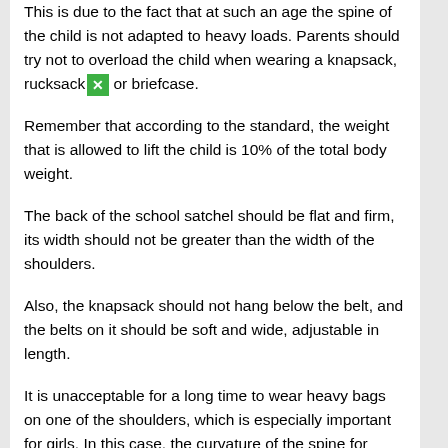This is due to the fact that at such an age the spine of the child is not adapted to heavy loads. Parents should try not to overload the child when wearing a knapsack, rucksack or briefcase.
Remember that according to the standard, the weight that is allowed to lift the child is 10% of the total body weight.
The back of the school satchel should be flat and firm, its width should not be greater than the width of the shoulders.
Also, the knapsack should not hang below the belt, and the belts on it should be soft and wide, adjustable in length.
It is unacceptable for a long time to wear heavy bags on one of the shoulders, which is especially important for girls. In this case, the curvature of the spine for them can be an inevitable problem.
With regard to the correct transfer of weights, it is known